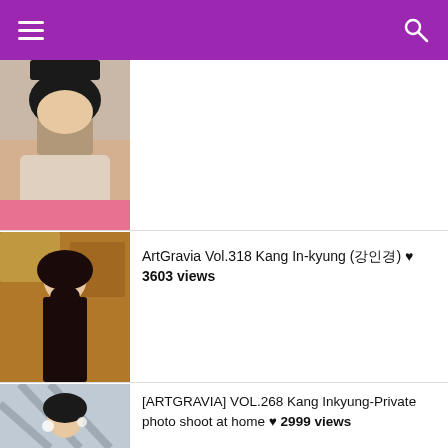Navigation header with menu and search
[Figure (photo): Thumbnail photo of a young woman with short black hair wearing a grey hoodie, partially covering her face]
[Figure (photo): Thumbnail photo of a young woman with long black hair wearing a sheer outfit, standing in front of a wall with frames]
ArtGravia Vol.318 Kang In-kyung (강인경) ♥ 3603 views
[Figure (photo): Thumbnail photo of a young woman with dark hair in a brightly lit room with geometric wall pattern]
[ARTGRAVIA] VOL.268 Kang Inkyung-Private photo shoot at home ♥ 2999 views